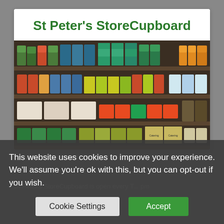St Peter's StoreCupboard
[Figure (photo): Shelves stocked with various canned and packaged food items including tins of fish, sardines, beans, and other foodstuffs in a food bank or store cupboard setting.]
This website uses cookies to improve your experience. We'll assume you're ok with this, but you can opt-out if you wish.
Cookie Settings
Accept